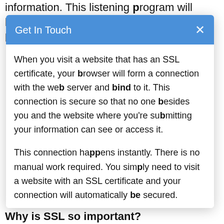information. This listening program will b… b…
[Figure (screenshot): Modal dialog with blue header 'Get In Touch' and X close button, containing two paragraphs about SSL certificates.]
When you visit a website that has an SSL certificate, your browser will form a connection with the web server and bind to it. This connection is secure so that no one besides you and the website where you're submitting your information can see or access it.
This connection happens instantly. There is no manual work required. You simply need to visit a website with an SSL certificate and your connection will automatically be secured.
Why is SSL so important?